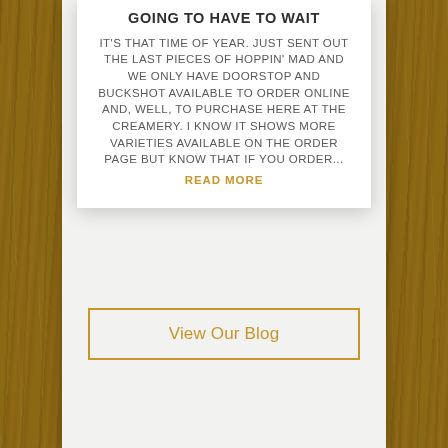GOING TO HAVE TO WAIT
IT'S THAT TIME OF YEAR. JUST SENT OUT THE LAST PIECES OF HOPPIN' MAD AND WE ONLY HAVE DOORSTOP AND BUCKSHOT AVAILABLE TO ORDER ONLINE AND, WELL, TO PURCHASE HERE AT THE CREAMERY. I KNOW IT SHOWS MORE VARIETIES AVAILABLE ON THE ORDER PAGE BUT KNOW THAT IF YOU ORDER...
READ MORE
View Our Blog